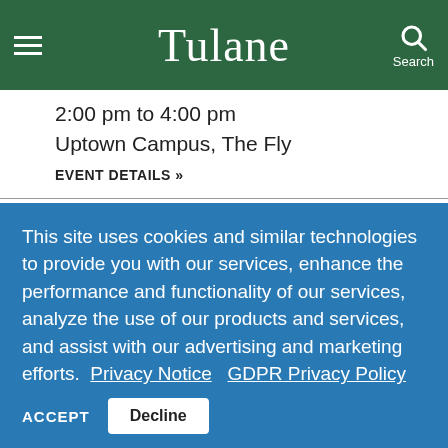Tulane
2:00 pm to 4:00 pm
Uptown Campus, The Fly
EVENT DETAILS »
DINNER DISTRIBUTION
This site uses cookies and similar technologies to provide you with our services, enhance the performance and functionality of our services, analyze the use of our products and services, and assist with our advertising and marketing efforts.  Privacy Notice  GDPR Privacy Policy
ACCEPT  Decline